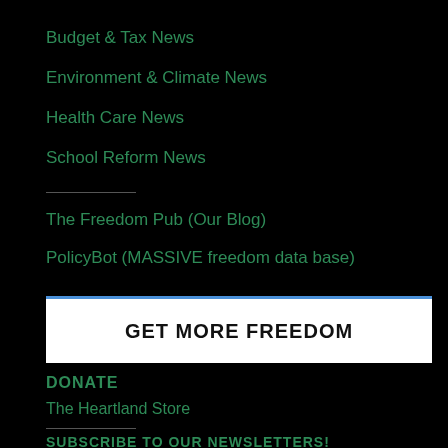Budget & Tax News
Environment & Climate News
Health Care News
School Reform News
The Freedom Pub (Our Blog)
PolicyBot (MASSIVE freedom data base)
[Figure (other): GET MORE FREEDOM banner button with blue top border on white background]
DONATE
The Heartland Store
SUBSCRIBE TO OUR NEWSLETTERS!